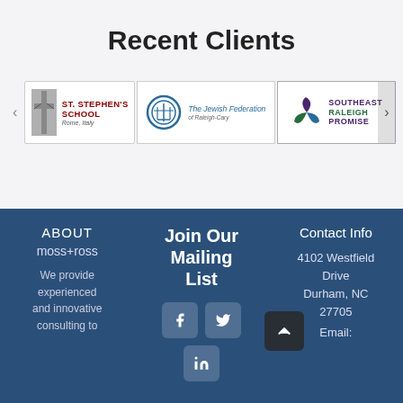Recent Clients
[Figure (logo): St. Stephen's School Rome, Italy logo]
[Figure (logo): The Jewish Federation logo]
[Figure (logo): Southeast Raleigh Promise logo]
ABOUT moss+ross
We provide experienced and innovative consulting to
Join Our Mailing List
Contact Info
4102 Westfield Drive
Durham, NC 27705
Email: